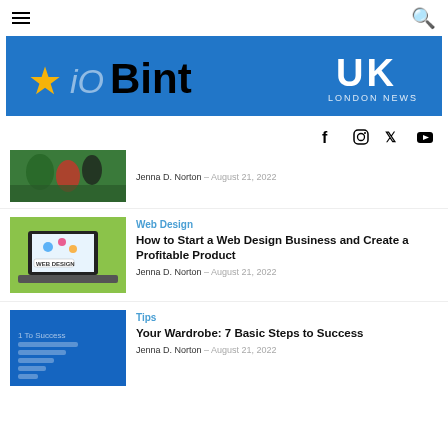iOBint UK London News — navigation header
[Figure (logo): iOBint UK London News banner logo on blue background with star icon]
[Figure (infographic): Social media icons: Facebook, Instagram, Twitter, YouTube]
[Figure (photo): Superhero action figures photo thumbnail]
Jenna D. Norton – August 21, 2022
[Figure (photo): Web Design laptop with diagrams thumbnail]
Web Design
How to Start a Web Design Business and Create a Profitable Product
Jenna D. Norton – August 21, 2022
[Figure (photo): Steps to success dark blue background thumbnail]
Tips
Your Wardrobe: 7 Basic Steps to Success
Jenna D. Norton – August 21, 2022